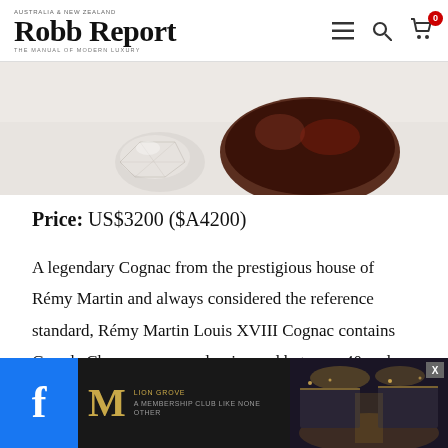Robb Report — AUSTRALIA & NEW ZEALAND — THE MANUAL OF MODERN LUXURY
[Figure (photo): Partial view of a crystal decanter stopper lying next to a dark cognac bottle on a white surface]
Price: US$3200 ($A4200)
A legendary Cognac from the prestigious house of Rémy Martin and always considered the reference standard, Rémy Martin Louis XVIII Cognac contains Grande Champagne eau-de-vie aged between 40 and 100 years and is packaged in a … floral
[Figure (other): Bottom advertisement banner: Facebook social icon on left (blue), center shows M luxury club logo with text 'A MEMBERSHIP CLUB LIKE NONE OTHER', right shows interior image of a luxury venue. X close button visible.]